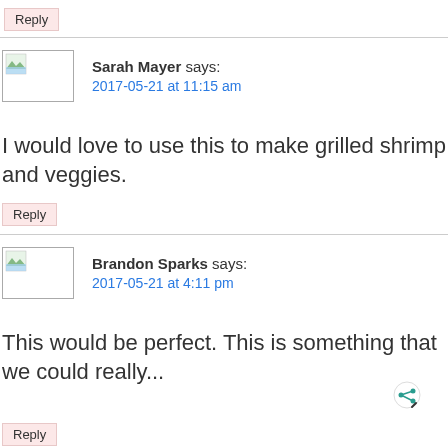Reply
Sarah Mayer says:
2017-05-21 at 11:15 am
I would love to use this to make grilled shrimp and veggies.
Reply
Brandon Sparks says:
2017-05-21 at 4:11 pm
This would be perfect. This is something that we could reall...
Reply